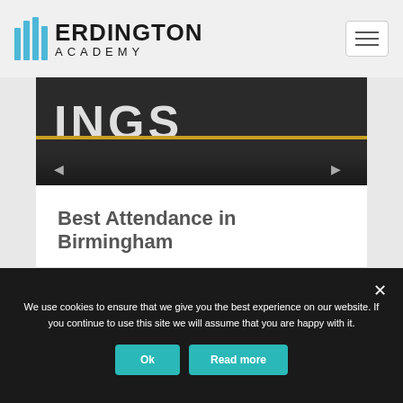[Figure (logo): Erdington Academy logo with blue vertical bars and bold text]
[Figure (photo): Dark background image with large white text letters partially visible, and a gold/yellow horizontal stripe]
Best Attendance in Birmingham
READ MORE »
We use cookies to ensure that we give you the best experience on our website. If you continue to use this site we will assume that you are happy with it.